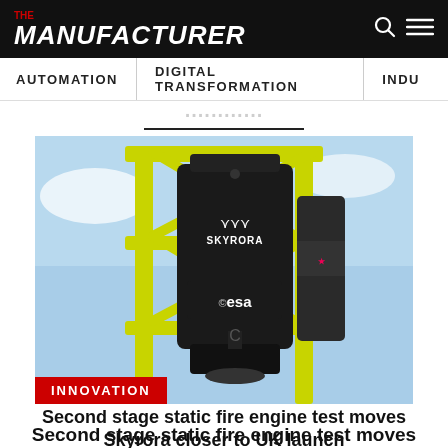THE MANUFACTURER
AUTOMATION | DIGITAL TRANSFORMATION | INDU...
[Figure (photo): Skyrora second stage rocket engine in a yellow test rig frame, with ESA logo on the side, against a blue sky background. Red INNOVATION badge in bottom left corner.]
Second stage static fire engine test moves Skyrora closer to UK launch
#Collaboration  #Innovation  #R&D